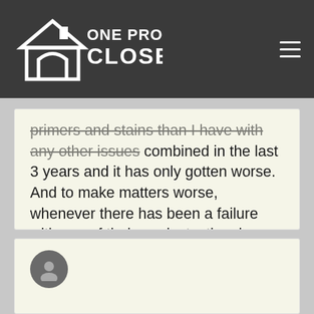One Project Closer
primers and stains than I have with any other issues combined in the last 3 years and it has only gotten worse. And to make matters worse, whenever there has been a failure with any of their products, they have never once made good on a warranty. There is the usually response, “we feel the directions were not followed”, funny how that has never happened with any other brands or any other products for that matter. I would avoid Behr, unless you are forced to use it, and then you had better get a waiver to make sure it doesn’t come back on you!
[Figure (illustration): User avatar placeholder circle icon for a comment author]